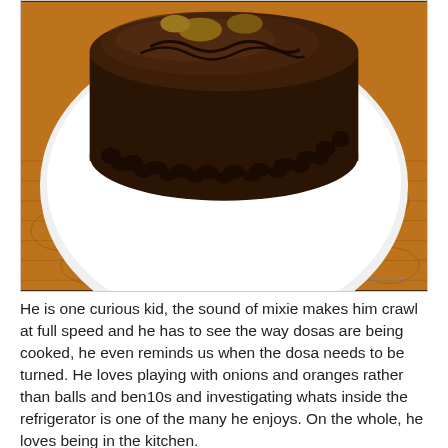[Figure (photo): A chocolate frosted cake on a white plate, sitting on an orange patterned tablecloth. The cake is fully covered in dark chocolate ganache with decorative piped chocolate borders around the base and top edge. A watermark reading 'IMGTRI2023' is visible in the lower right corner.]
He is one curious kid, the sound of mixie makes him crawl at full speed and he has to see the way dosas are being cooked, he even reminds us when the dosa needs to be turned. He loves playing with onions and oranges rather than balls and ben10s and investigating whats inside the refrigerator is one of the many he enjoys. On the whole, he loves being in the kitchen.